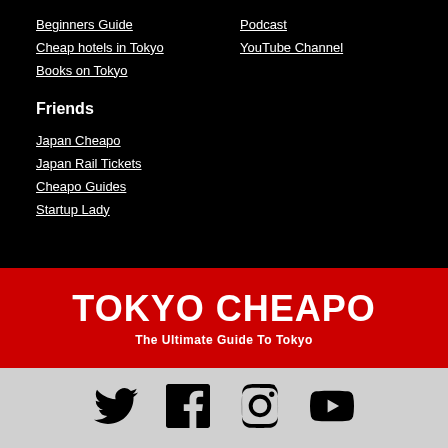Beginners Guide
Cheap hotels in Tokyo
Books on Tokyo
Podcast
YouTube Channel
Friends
Japan Cheapo
Japan Rail Tickets
Cheapo Guides
Startup Lady
TOKYO CHEAPO
The Ultimate Guide To Tokyo
[Figure (infographic): Social media icons: Twitter, Facebook, Instagram, YouTube]